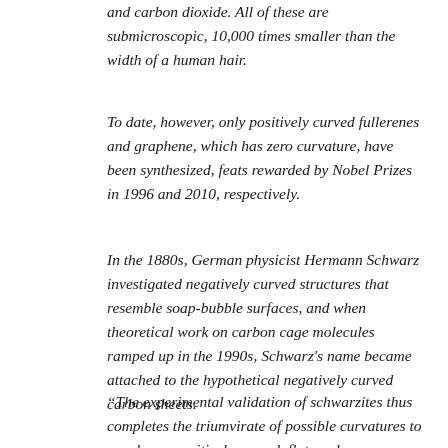and carbon dioxide. All of these are submicroscopic, 10,000 times smaller than the width of a human hair.
To date, however, only positively curved fullerenes and graphene, which has zero curvature, have been synthesized, feats rewarded by Nobel Prizes in 1996 and 2010, respectively.
In the 1880s, German physicist Hermann Schwarz investigated negatively curved structures that resemble soap-bubble surfaces, and when theoretical work on carbon cage molecules ramped up in the 1990s, Schwarz's name became attached to the hypothetical negatively curved carbon sheets.
“The experimental validation of schwarzites thus completes the triumvirate of possible curvatures to graphene; positively curved, flat, and now negatively curved,” Braun added.